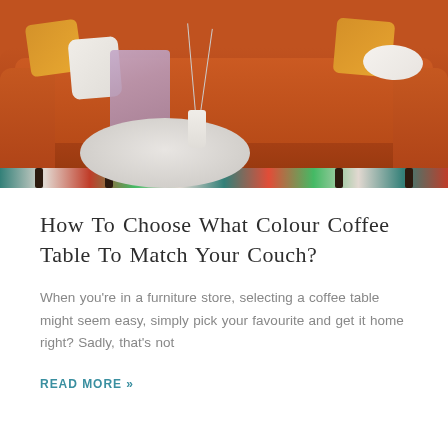[Figure (photo): A burnt-orange/rust velvet sofa with yellow, white, and mixed pillows, a lavender throw blanket, and a round marble coffee table with white ceramic vases. The sofa sits on a colorful floral rug with teal and red motifs. Decorative branches with white flower buds are in a vase on the coffee table.]
How To Choose What Colour Coffee Table To Match Your Couch?
When you're in a furniture store, selecting a coffee table might seem easy, simply pick your favourite and get it home right? Sadly, that's not
READ MORE »